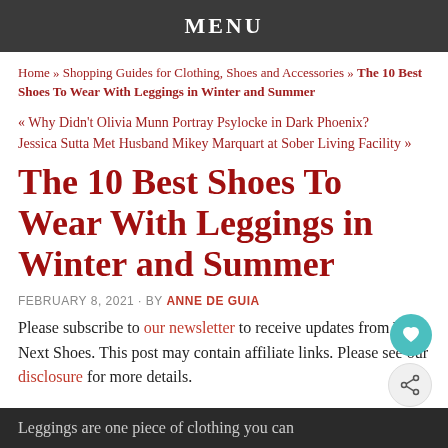MENU
Home » Shopping Guides for Clothing, Shoes and Accessories » The 10 Best Shoes To Wear With Leggings in Winter and Summer
« Why Didn't Olivia Munn Portray Psylocke in Dark Phoenix?
Jessica Sutta Met Husband Mikey Marquart at Sober Living Facility »
The 10 Best Shoes To Wear With Leggings in Winter and Summer
FEBRUARY 8, 2021 · BY ANNE DE GUIA
Please subscribe to our newsletter to receive updates from Your Next Shoes. This post may contain affiliate links. Please see our disclosure for more details.
Leggings are one piece of clothing you can